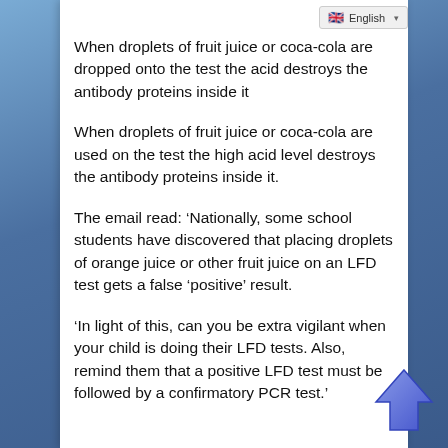English
When droplets of fruit juice or coca-cola are dropped onto the test the acid destroys the antibody proteins inside it
When droplets of fruit juice or coca-cola are used on the test the high acid level destroys the antibody proteins inside it.
The email read: ‘Nationally, some school students have discovered that placing droplets of orange juice or other fruit juice on an LFD test gets a false ‘positive’ result.
‘In light of this, can you be extra vigilant when your child is doing their LFD tests. Also, remind them that a positive LFD test must be followed by a confirmatory PCR test.’
[Figure (illustration): Blue upward-pointing arrow icon in bottom right corner]